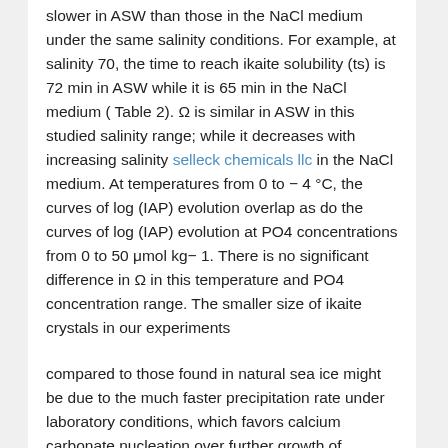slower in ASW than those in the NaCl medium under the same salinity conditions. For example, at salinity 70, the time to reach ikaite solubility (ts) is 72 min in ASW while it is 65 min in the NaCl medium ( Table 2). Ω is similar in ASW in this studied salinity range; while it decreases with increasing salinity selleck chemicals llc in the NaCl medium. At temperatures from 0 to − 4 °C, the curves of log (IAP) evolution overlap as do the curves of log (IAP) evolution at PO4 concentrations from 0 to 50 μmol kg− 1. There is no significant difference in Ω in this temperature and PO4 concentration range. The smaller size of ikaite crystals in our experiments
compared to those found in natural sea ice might be due to the much faster precipitation rate under laboratory conditions, which favors calcium carbonate nucleation over further growth of crystals (Vekilov, 2010). In sea ice, the precipitation of ikaite probably goes through a much slower process, allowing the crystals to grow larger. However, the size of natural ikaite in sea ice could also be limited by the dimensions of the brine pockets or brine channels (Dieckmann et al., 2008). The different